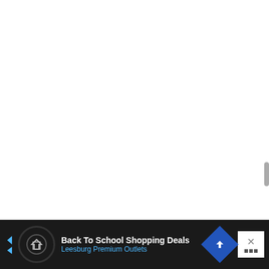This idea could not be easier and so fun for an
[Figure (screenshot): Advertisement banner: Back To School Shopping Deals - Leesburg Premium Outlets, with navigation arrow icon and close button]